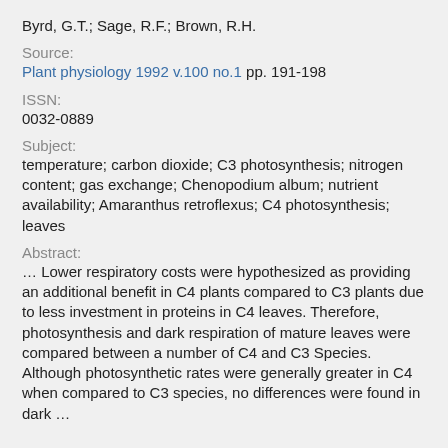Byrd, G.T.; Sage, R.F.; Brown, R.H.
Source:
Plant physiology 1992 v.100 no.1 pp. 191-198
ISSN:
0032-0889
Subject:
temperature; carbon dioxide; C3 photosynthesis; nitrogen content; gas exchange; Chenopodium album; nutrient availability; Amaranthus retroflexus; C4 photosynthesis; leaves
Abstract:
… Lower respiratory costs were hypothesized as providing an additional benefit in C4 plants compared to C3 plants due to less investment in proteins in C4 leaves. Therefore, photosynthesis and dark respiration of mature leaves were compared between a number of C4 and C3 Species. Although photosynthetic rates were generally greater in C4 when compared to C3 species, no differences were found in dark …